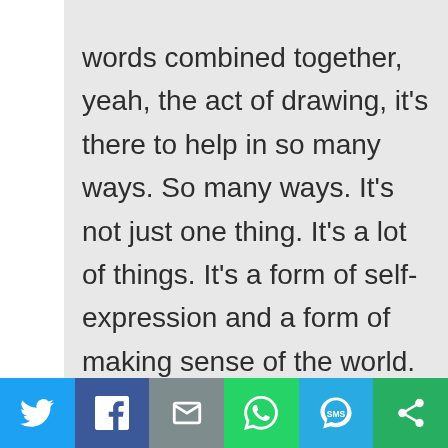words combined together, yeah, the act of drawing, it's there to help in so many ways. So many ways. It's not just one thing. It's a lot of things. It's a form of self-expression and a form of making sense of the world.
[Figure (other): Social share bar with icons: Twitter (blue), Facebook (dark blue), Email/envelope (gray), WhatsApp (green), SMS (light blue), More/share (green)]